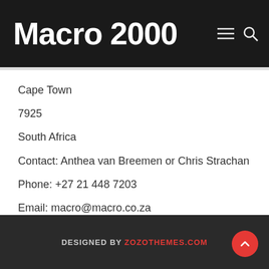Macro 2000
Cape Town
7925
South Africa
Contact: Anthea van Breemen or Chris Strachan
Phone: +27 21 448 7203
Email: macro@macro.co.za
Web: www.macro.o.za
DESIGNED BY ZOZOTHEMES.COM